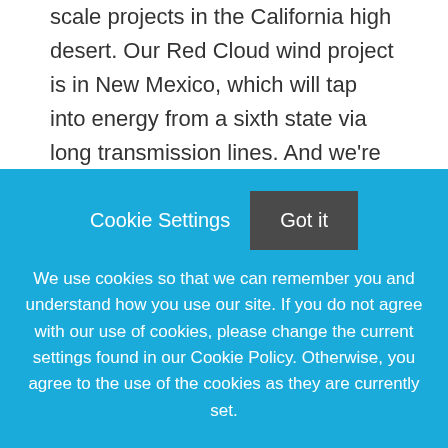scale projects in the California high desert. Our Red Cloud wind project is in New Mexico, which will tap into energy from a sixth state via long transmission lines. And we're looking at wind in other states.

It's interesting to be leading an agency where both sides of the house—water and power—are heading in essentially different directions when it comes to the makeup of
Cookie Settings  Got it
We use cookies so that we can remember you and understand how you use our site. If you do not agree with our use of cookies, please change the current settings found in our Cookie Policy. Otherwise, you agree to the use of the cookies as they are currently set.